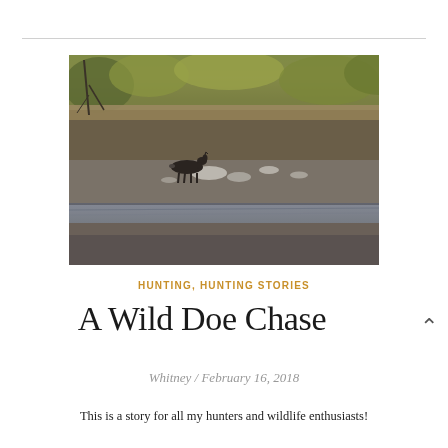[Figure (photo): Outdoor landscape photo showing a deer standing near a rocky riverbank or creek bed, surrounded by dry autumn grass and bare shrubby trees with some yellow foliage in the background. The scene is muted and natural in color.]
HUNTING, HUNTING STORIES
A Wild Doe Chase
Whitney / February 16, 2018
This is a story for all my hunters and wildlife enthusiasts!